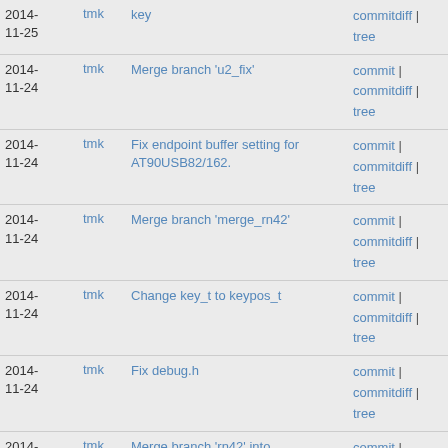| Date | Author | Message | Links |
| --- | --- | --- | --- |
| 2014-11-25 | tmk | key | commitdiff | tree |
| 2014-11-24 | tmk | Merge branch 'u2_fix' | commit | commitdiff | tree |
| 2014-11-24 | tmk | Fix endpoint buffer setting for AT90USB82/162. | commit | commitdiff | tree |
| 2014-11-24 | tmk | Merge branch 'merge_rn42' | commit | commitdiff | tree |
| 2014-11-24 | tmk | Change key_t to keypos_t | commit | commitdiff | tree |
| 2014-11-24 | tmk | Fix debug.h | commit | commitdiff | tree |
| 2014-11-24 | tmk | Merge branch 'rn42' into merge_rn42 | commit | commitdiff | tree |
| 2014- | tmk | Update doc | commit | |